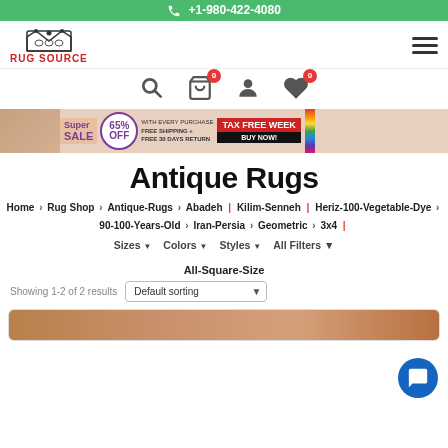+1-980-422-4080
[Figure (logo): Rug Source logo with crown icon and red RUG SOURCE text]
[Figure (infographic): Super Sale OFF banner with Tax Free Week Buy Now promotional content]
Antique Rugs
Home > Rug Shop > Antique-Rugs > Abadeh | Kilim-Senneh | Heriz-100-Vegetable-Dye > 90-100-Years-Old > Iran-Persia > Geometric > 3x4 |
Sizes  Colors  Styles  All Filters  All-Square-Size
Showing 1-2 of 2 results  Default sorting
[Figure (photo): Partial view of antique rug product card at bottom of page]